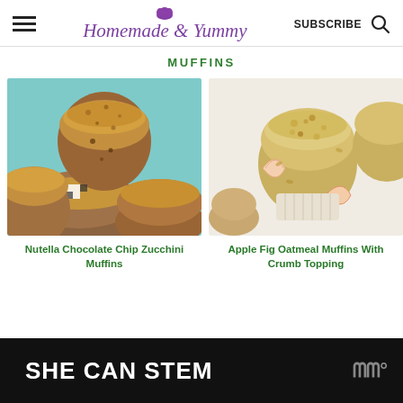Homemade & Yummy — SUBSCRIBE
MUFFINS
[Figure (photo): Close-up photo of Nutella Chocolate Chip Zucchini Muffins piled on a teal surface with a black and white checkered muffin liner]
Nutella Chocolate Chip Zucchini Muffins
[Figure (photo): Top-down photo of Apple Fig Oatmeal Muffins with crumb topping, apple slices, and figs on a white surface]
Apple Fig Oatmeal Muffins With Crumb Topping
[Figure (other): Advertisement banner: SHE CAN STEM with Mediavine logo on dark background]